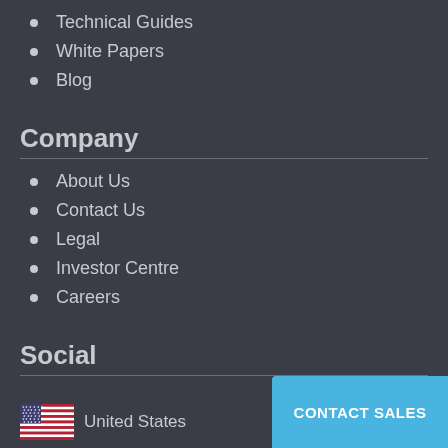Technical Guides
White Papers
Blog
Company
About Us
Contact Us
Legal
Investor Centre
Careers
Social
United States
CONTACT SALES